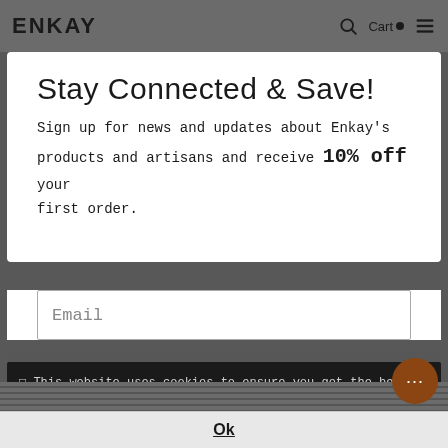ENKAY  Cart  ☰
Stay Connected & Save!
Sign up for news and updates about Enkay's products and artisans and receive 10% off your first order.
Email
SUBMIT
🍪 This website uses cookies to ensure you get the best experience. Learn more
Ok